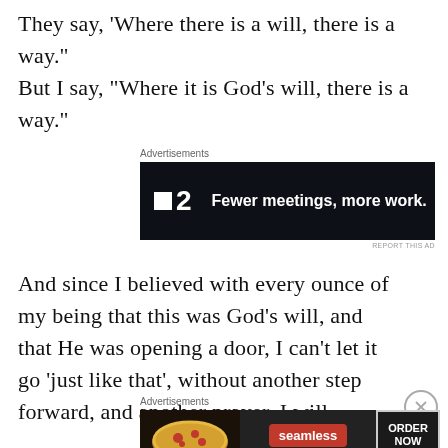They say, ‘Where there is a will, there is a way.” But I say, “Where it is God’s will, there is a way.”
[Figure (screenshot): Advertisement banner: P2 logo with text 'Fewer meetings, more work.' on dark background]
And since I believed with every ounce of my being that this was God’s will, and that He was opening a door, I can’t let it go ‘just like that’, without another step forward, and another prayer. I will
[Figure (screenshot): Advertisement banner: Seamless food ordering ad with pizza image, Seamless logo, and ORDER NOW button]